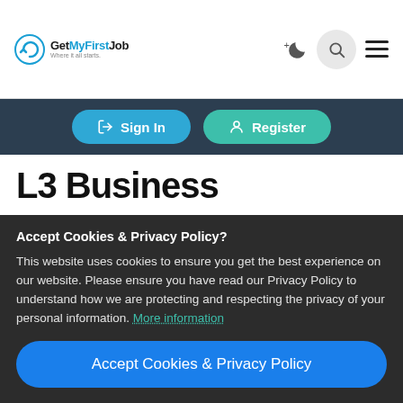[Figure (logo): GetMyFirstJob logo with circular arrow icon and tagline 'Where it all starts.']
Sign In
Register
L3 Business
Accept Cookies & Privacy Policy?
This website uses cookies to ensure you get the best experience on our website. Please ensure you have read our Privacy Policy to understand how we are protecting and respecting the privacy of your personal information. More information
Accept Cookies & Privacy Policy